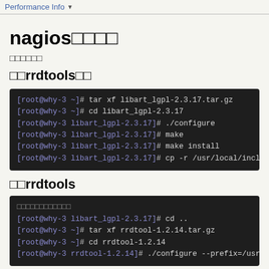Performance Info
nagios□□□□
□□□□□□
□□rrdtools□□
[root@why-3 ~]# tar xf libart_lgpl-2.3.17.tar.gz
[root@why-3 ~]# cd libart_lgpl-2.3.17
[root@why-3 libart_lgpl-2.3.17]# ./configure
[root@why-3 libart_lgpl-2.3.17]# make
[root@why-3 libart_lgpl-2.3.17]# make install
[root@why-3 libart_lgpl-2.3.17]# cp -r /usr/local/inclu
□□rrdtools
□□□□□□□□□□□□
[root@why-3 libart_lgpl-2.3.17]# cd ..
[root@why-3 ~]# tar xf rrdtool-1.2.14.tar.gz
[root@why-3 ~]# cd rrdtool-1.2.14
[root@why-3 rrdtool-1.2.14]# ./configure --prefix=/usr/